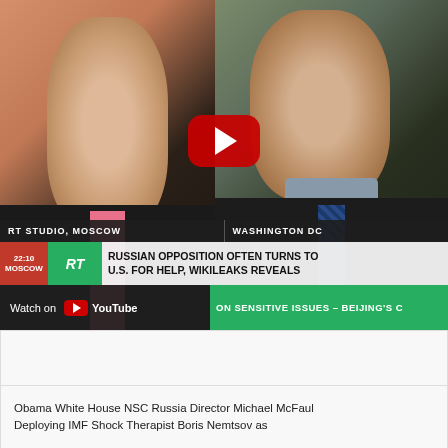[Figure (screenshot): YouTube video screenshot of RT (Russia Today) news broadcast showing two people in a split-screen: a man in a black suit with a pink tie labeled 'RT STUDIO, MOSCOW' on the left, and an older man with glasses labeled 'WASHINGTON DC' on the right. A YouTube play button overlay is visible. The lower chyron reads: 'RUSSIAN OPPOSITION OFTEN TURNS TO U.S. FOR HELP, WIKILEAKS REVEALS'. A 'Watch on YouTube' overlay bar is visible at bottom left, with a green ticker 'ON SENSITIVE ISSUES - BEIJING'S C' on the bottom right.]
Obama White House NSC Russia Director Michael McFaul Deploying IMF Shock Therapist Boris Nemtsov as